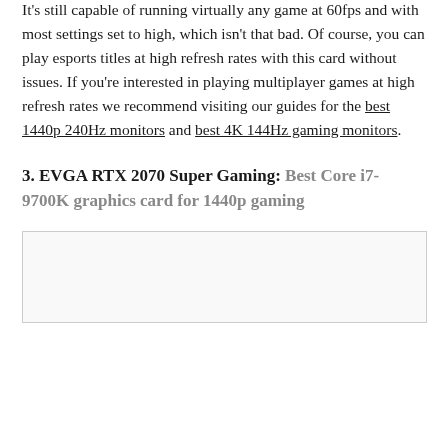you an aim and a log to get over.

It's still capable of running virtually any game at 60fps and with most settings set to high, which isn't that bad. Of course, you can play esports titles at high refresh rates with this card without issues. If you're interested in playing multiplayer games at high refresh rates we recommend visiting our guides for the best 1440p 240Hz monitors and best 4K 144Hz gaming monitors.
3. EVGA RTX 2070 Super Gaming: Best Core i7-9700K graphics card for 1440p gaming
[Figure (photo): Image placeholder box with border]